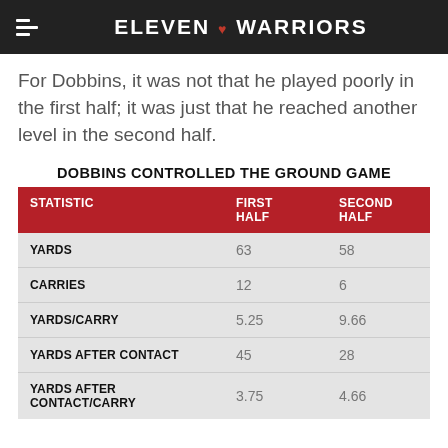ELEVEN ❤ WARRIORS
For Dobbins, it was not that he played poorly in the first half; it was just that he reached another level in the second half.
DOBBINS CONTROLLED THE GROUND GAME
| STATISTIC | FIRST HALF | SECOND HALF |
| --- | --- | --- |
| YARDS | 63 | 58 |
| CARRIES | 12 | 6 |
| YARDS/CARRY | 5.25 | 9.66 |
| YARDS AFTER CONTACT | 45 | 28 |
| YARDS AFTER CONTACT/CARRY | 3.75 | 4.66 |